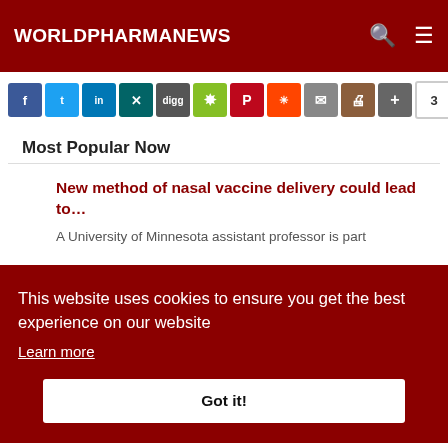WORLDPHARMANEWS
[Figure (screenshot): Social share buttons row: Facebook, Twitter, LinkedIn, XING, Digg, Mendeley, Pinterest, Reddit, Email, Print, More, and count badge showing 3]
Most Popular Now
New method of nasal vaccine delivery could lead to…
A University of Minnesota assistant professor is part
This website uses cookies to ensure you get the best experience on our website
Learn more
Got it!
definitive agreement under which Pfizer